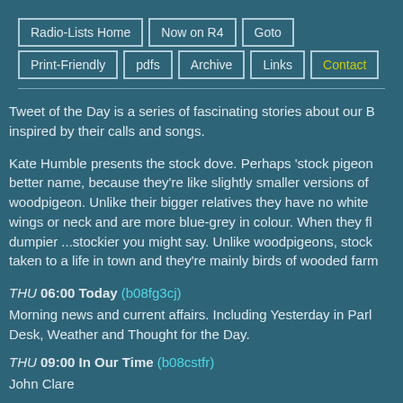Radio-Lists Home
Now on R4
Goto
Print-Friendly
pdfs
Archive
Links
Contact
Tweet of the Day is a series of fascinating stories about our B inspired by their calls and songs.
Kate Humble presents the stock dove. Perhaps 'stock pigeon better name, because they're like slightly smaller versions of woodpigeon. Unlike their bigger relatives they have no white wings or neck and are more blue-grey in colour. When they fl dumpier ...stockier you might say. Unlike woodpigeons, stock taken to a life in town and they're mainly birds of wooded farm
THU 06:00 Today (b08fg3cj)
Morning news and current affairs. Including Yesterday in Parl Desk, Weather and Thought for the Day.
THU 09:00 In Our Time (b08cstfr)
John Clare
Melvyn Bragg and guests discuss the Northamptonshire m...